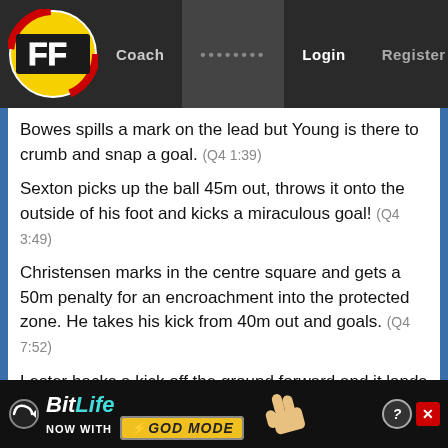FF | Coach | ........ | Login | Register
Bowes spills a mark on the lead but Young is there to crumb and snap a goal. (Q4 1:39)
Sexton picks up the ball 45m out, throws it onto the outside of his foot and kicks a miraculous goal! (Q4 3:49)
Christensen marks in the centre square and gets a 50m penalty for an encroachment into the protected zone. He takes his kick from 40m out and goals. (Q4 7:52)
Lester hacks a kick off the ground forward and it lands straight in Beams' arms 20m from goal! Beams goals and puts Brisbane in front. (Q4 14:10)
Forward 50 stoppage for GC and Lyons
[Figure (screenshot): BitLife advertisement banner: BitLife logo with 'NOW WITH GOD MODE' text and hand pointer graphic]